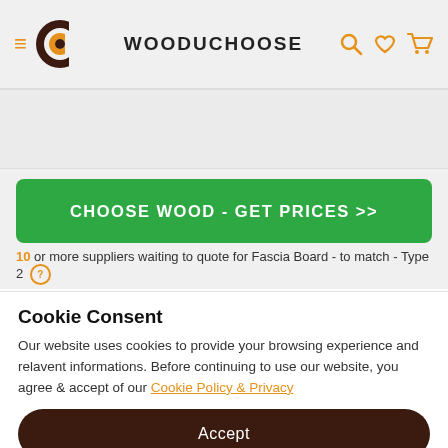WOODUCHOOSE navigation bar with logo, hamburger menu, search, wishlist, and cart icons
CHOOSEWOOD - GET PRICES >>
10 or more suppliers waiting to quote for Fascia Board - to match - Type 2
Cookie Consent
Our website uses cookies to provide your browsing experience and relavent informations. Before continuing to use our website, you agree & accept of our Cookie Policy & Privacy
Accept